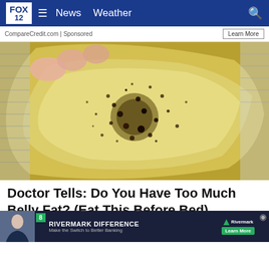FOX 12 — News  Weather
CompareCredit.com | Sponsored
[Figure (photo): Close-up photo of a hand holding a translucent yellowish strip or slice covered in dark green/brown speckled particles or seeds, with a ridged colander or strainer visible in the background.]
Doctor Tells: Do You Have Too Much Belly Fat? (Eat This Before Bed)
Gundry MD
[Figure (other): Rivermark bank advertisement overlay: 'RIVERMARK DIFFERENCE — Make the Switch to Better Banking' with Learn More button and Rivermark logo. Also shows a news anchor thumbnail with '8' green badge.]